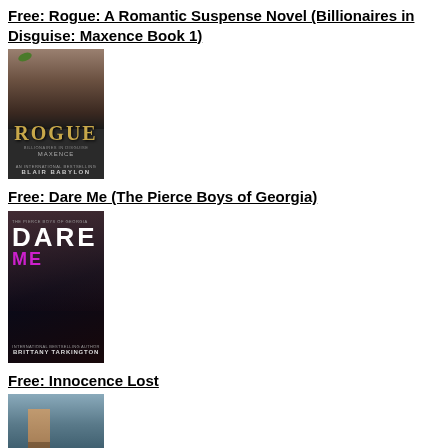Free: Rogue: A Romantic Suspense Novel (Billionaires in Disguise: Maxence Book 1)
[Figure (photo): Book cover for 'Rogue: Billionaires in Disguise: Maxence' by Blair Babylon. Dark cover with a man and large gold 'ROGUE' title text.]
Free: Dare Me (The Pierce Boys of Georgia)
[Figure (photo): Book cover for 'Dare Me (The Pierce Boys of Georgia)' by Brittany Tarkington. Dark cover with a shirtless man and large white 'DARE' and pink 'ME' title text.]
Free: Innocence Lost
[Figure (photo): Book cover for 'Innocence Lost'. Blue/outdoor background with a man figure visible.]